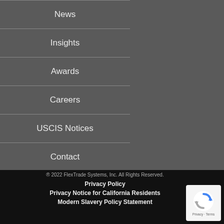News
Insights
Awards
Careers
USCIS Notices
Contact
® 2022 FlexTrade Systems, Inc. All Rights Reserved.
Privacy Policy
Privacy Notice for California Residents
Modern Slavery Policy Statement